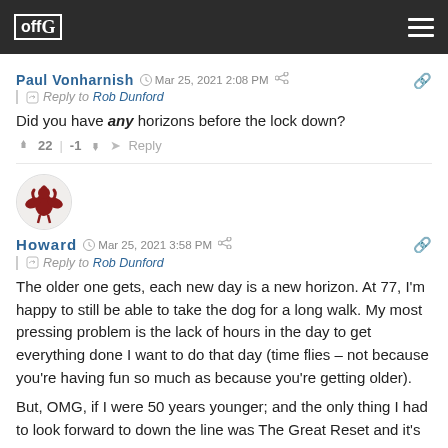offG [logo and navigation bar]
Paul Vonharnish  Mar 25, 2021 2:08 PM
Reply to Rob Dunford
Did you have any horizons before the lock down?
22  |  -1  Reply
[Figure (illustration): Circular avatar image of Howard showing a cartoon-like bird/phoenix figure in red/dark red]
Howard  Mar 25, 2021 3:58 PM
Reply to Rob Dunford
The older one gets, each new day is a new horizon. At 77, I'm happy to still be able to take the dog for a long walk. My most pressing problem is the lack of hours in the day to get everything done I want to do that day (time flies – not because you're having fun so much as because you're getting older).
But, OMG, if I were 50 years younger; and the only thing I had to look forward to down the line was The Great Reset and it's